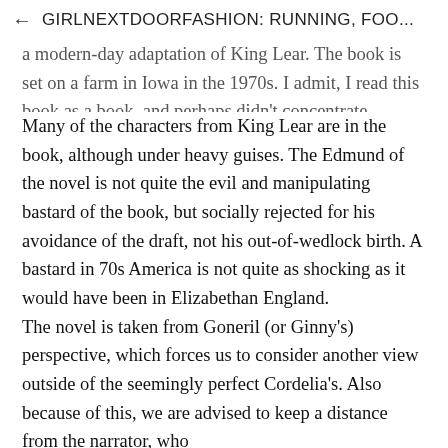← GIRLNEXTDOORFASHION: RUNNING, FOO...
a modern-day adaptation of King Lear. The book is set on a farm in Iowa in the 1970s. I admit, I read this book as a book, and perhaps didn't concentrate enough on its similarities and differences to King Lear, but key moments are highlighted, and it would be interesting to read alongside King Lear.
Many of the characters from King Lear are in the book, although under heavy guises. The Edmund of the novel is not quite the evil and manipulating bastard of the book, but socially rejected for his avoidance of the draft, not his out-of-wedlock birth. A bastard in 70s America is not quite as shocking as it would have been in Elizabethan England.
The novel is taken from Goneril (or Ginny's) perspective, which forces us to consider another view outside of the seemingly perfect Cordelia's. Also because of this, we are advised to keep a distance from the narrator, who perhaps is unreliable at best.